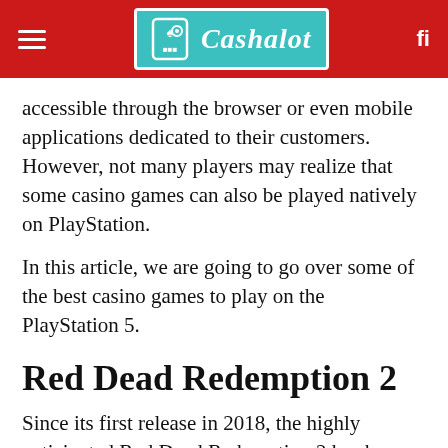Cashalot
accessible through the browser or even mobile applications dedicated to their customers. However, not many players may realize that some casino games can also be played natively on PlayStation.
In this article, we are going to go over some of the best casino games to play on the PlayStation 5.
Red Dead Redemption 2
Since its first release in 2018, the highly anticipated Red Dead Redemption 2 has been one of the most popular game titles year after year. It's a game that revolves around the old western action-adventure game which is filled with lots of missions and